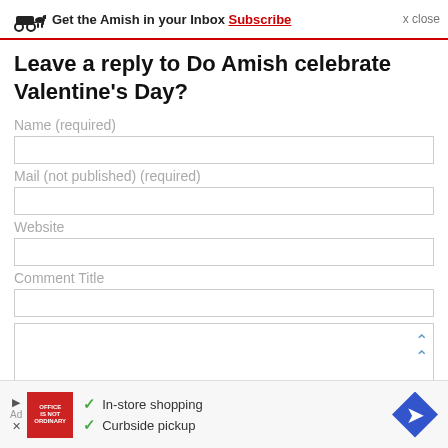Get the Amish in your Inbox Subscribe x close
Leave a reply to Do Amish celebrate Valentine's Day?
Name (required)
Mail (not published) (required)
Website
Comment Title
[Figure (other): Advertisement banner: Office Depot logo, checkmarks for In-store shopping and Curbside pickup, blue diamond arrow icon]